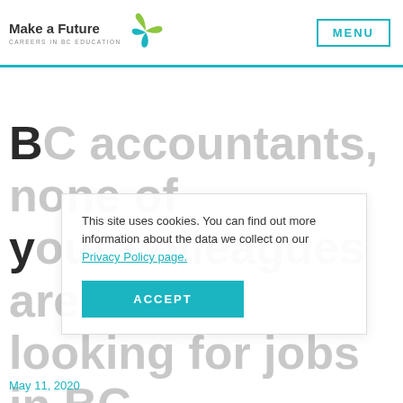Make a Future — CAREERS IN BC EDUCATION
BC accountants, none of your colleagues are looking for jobs in BC schools. This is why you should.
This site uses cookies. You can find out more information about the data we collect on our Privacy Policy page.
ACCEPT
May 11, 2020